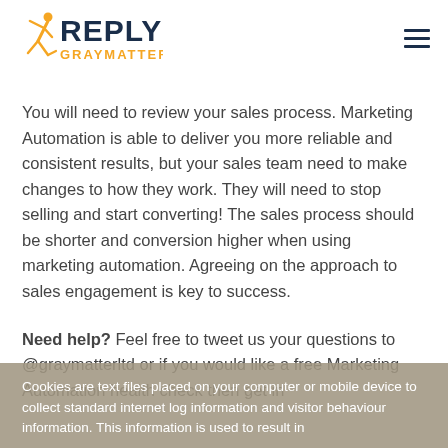[Figure (logo): Reply Graymatter logo — orange running figure icon, bold dark blue REPLY text, orange GRAYMATTER subtitle]
You will need to review your sales process. Marketing Automation is able to deliver you more reliable and consistent results, but your sales team need to make changes to how they work. They will need to stop selling and start converting! The sales process should be shorter and conversion higher when using marketing automation. Agreeing on the approach to sales engagement is key to success.
Need help? Feel free to tweet us your questions to @graymatterltd or if you would like a free Marketing Automation health check then get in
Cookies are text files placed on your computer or mobile device to collect standard internet log information and visitor behaviour information. This information is used to result in